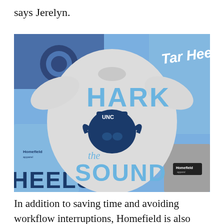says Jerelyn.
[Figure (photo): A collection of UNC Tar Heels branded t-shirts arranged on a flat surface. The central shirt is a heather grey tee with 'HARK the SOUND' text and a UNC Ram mascot graphic in blue and navy. Surrounding shirts include a light blue 'Tar Heels' script shirt, another light blue shirt with a UNC logo, a grey shirt with a Homefield tag, and another shirt with 'HEELS' text visible. Homefield brand tags are visible on some shirts.]
In addition to saving time and avoiding workflow interruptions, Homefield is also able to serve their customers better by getting